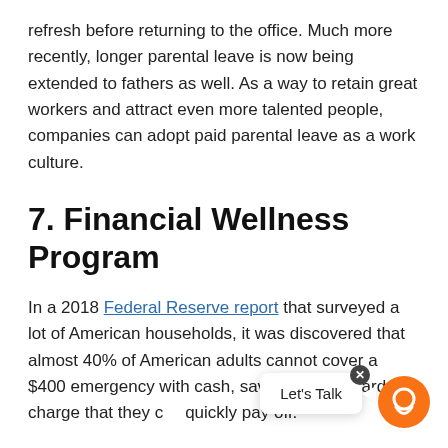refresh before returning to the office. Much more recently, longer parental leave is now being extended to fathers as well. As a way to retain great workers and attract even more talented people, companies can adopt paid parental leave as a work culture.
7. Financial Wellness Program
In a 2018 Federal Reserve report that surveyed a lot of American households, it was discovered that almost 40% of American adults cannot cover a $400 emergency with cash, savings, or a credit card charge that they could quickly pay off.